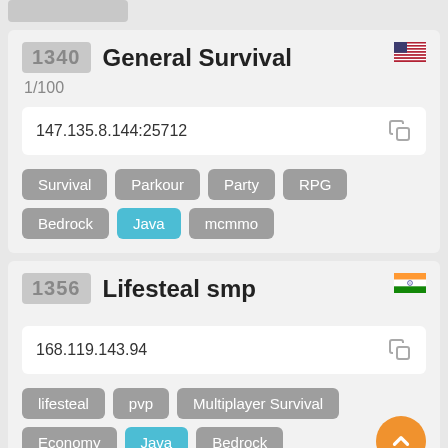[Figure (screenshot): Stub/partial card at top of page]
1340
General Survival
1/100
147.135.8.144:25712
Survival
Parkour
Party
RPG
Bedrock
Java
mcmmo
1356
Lifesteal smp
168.119.143.94
lifesteal
pvp
Multiplayer Survival
Economy
Java
Bedrock